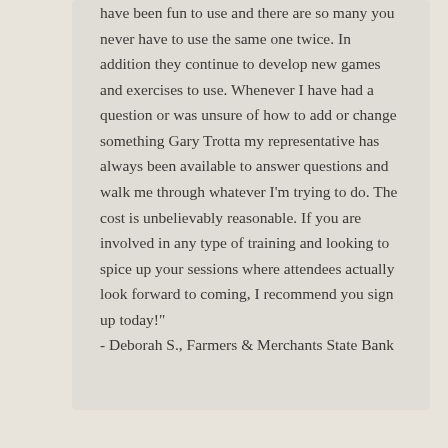have been fun to use and there are so many you never have to use the same one twice. In addition they continue to develop new games and exercises to use. Whenever I have had a question or was unsure of how to add or change something Gary Trotta my representative has always been available to answer questions and walk me through whatever I'm trying to do. The cost is unbelievably reasonable. If you are involved in any type of training and looking to spice up your sessions where attendees actually look forward to coming, I recommend you sign up today!" - Deborah S., Farmers & Merchants State Bank